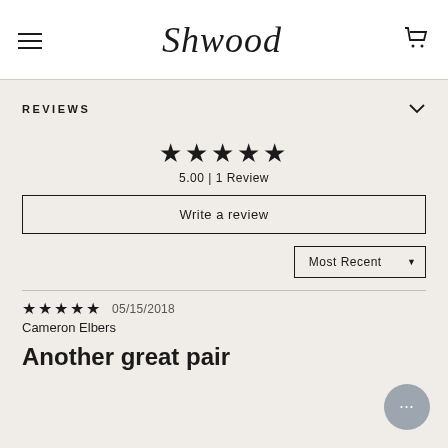Shwood
REVIEWS
★★★★★
5.00 | 1 Review
Write a review
Most Recent
★★★★★  05/15/2018
Cameron Elbers
Another great pair